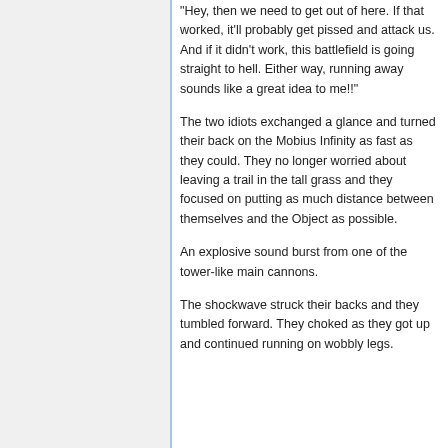"Hey, then we need to get out of here. If that worked, it'll probably get pissed and attack us. And if it didn't work, this battlefield is going straight to hell. Either way, running away sounds like a great idea to me!!"
The two idiots exchanged a glance and turned their back on the Mobius Infinity as fast as they could. They no longer worried about leaving a trail in the tall grass and they focused on putting as much distance between themselves and the Object as possible.
An explosive sound burst from one of the tower-like main cannons.
The shockwave struck their backs and they tumbled forward. They choked as they got up and continued running on wobbly legs.